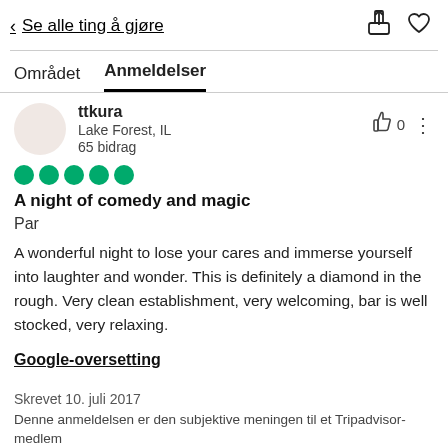< Se alle ting å gjøre
Området   Anmeldelser
ttkura
Lake Forest, IL
65 bidrag
[Figure (other): Five green circle rating dots (5 out of 5)]
A night of comedy and magic
Par
A wonderful night to lose your cares and immerse yourself into laughter and wonder. This is definitely a diamond in the rough. Very clean establishment, very welcoming, bar is well stocked, very relaxing.
Google-oversetting
Skrevet 10. juli 2017
Denne anmeldelsen er den subjektive meningen til et Tripadvisor-medlem